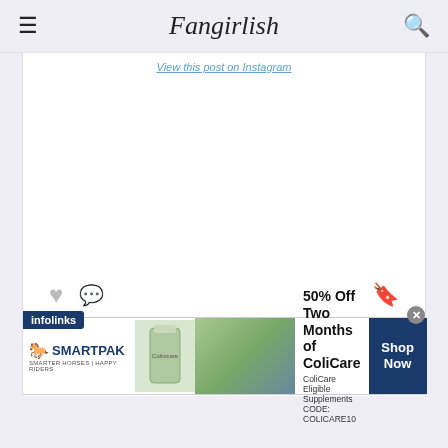Fangirlish
View this post on Instagram
WOMEN AND GIRLS IN EVERY CORNER OF THE WORLD FACE EXTREME VIOLENCE AND SEXUAL HARASSMENT ON A DAILY BASIS. OVER 800 WOMEN AND ADOLESCENT GIRLS DIE EVERY DAY BECAUSE THEY DO NOT HAVE ACCESS TO RELIABLE
[Figure (screenshot): Instagram embedded post with interaction icons (heart, comment, bookmark) and a text overlay about women and girls facing violence.]
infolinks
[Figure (infographic): SmartPak advertisement banner: 50% Off Two Months of ColiCare, ColiCare Eligible Supplements, CODE: COLICARE10, Shop Now button.]